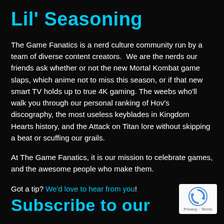Lil' Seasoning
The Game Fanatics is a nerd culture community run by a team of diverse content creators.  We are the nerds our friends ask whether or not the new Mortal Kombat game slaps, which anime not to miss this season, or if that new smart TV holds up to true 4K gaming. The weebs who'll walk you through our personal ranking of Hov's discography, the most useless keyblades in Kingdom Hearts history, and the Attack on Titan lore without skipping a beat or scuffing our grails.
At The Game Fanatics, it is our mission to celebrate games, and the awesome people who make them.
Got a tip? We'd love to hear from you!
[Figure (logo): reCAPTCHA badge with recycling arrow icon and Privacy - Terms text]
Subscribe to our